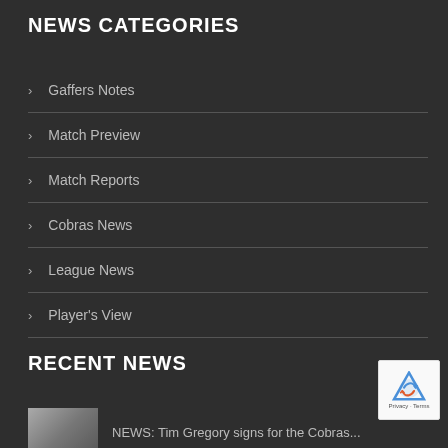NEWS CATEGORIES
Gaffers Notes
Match Preview
Match Reports
Cobras News
League News
Player's View
RECENT NEWS
NEWS: Tim Gregory signs for the Cobras...